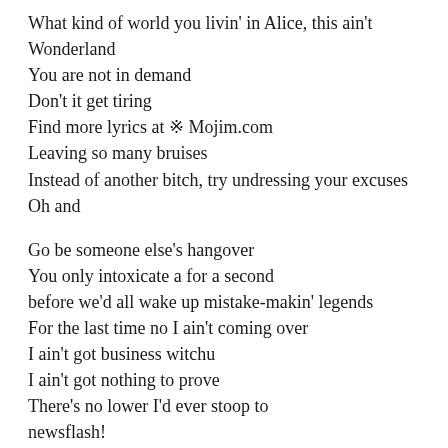What kind of world you livin' in Alice, this ain't Wonderland
You are not in demand
Don't it get tiring
Find more lyrics at ※ Mojim.com
Leaving so many bruises
Instead of another bitch, try undressing your excuses
Oh and
Go be someone else's hangover
You only intoxicate a for a second
before we'd all wake up mistake-makin' legends
For the last time no I ain't coming over
I ain't got business witchu
I ain't got nothing to prove
There's no lower I'd ever stoop to
newsflash!
I can do better than u